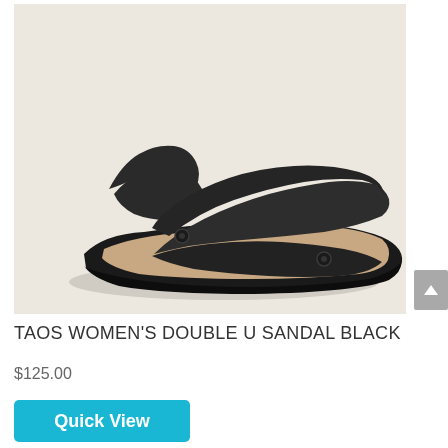[Figure (photo): Product photo of a Taos Women's Double U Sandal in black, shown on a light beige/cream background. The sandal features dark black/charcoal straps crossing the foot with velcro adjustments, a tan/beige footbed, and a dark rubber sole.]
TAOS WOMEN'S DOUBLE U SANDAL BLACK
$125.00
Quick View